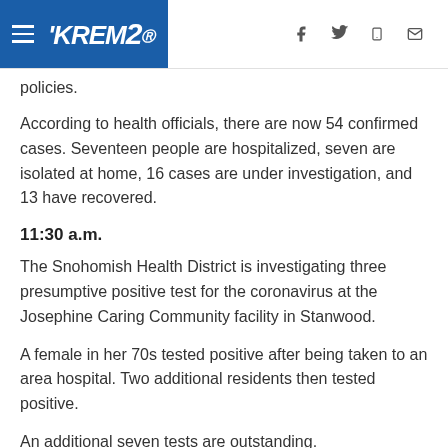KREM2 — navigation header with social/share icons
policies.
According to health officials, there are now 54 confirmed cases. Seventeen people are hospitalized, seven are isolated at home, 16 cases are under investigation, and 13 have recovered.
11:30 a.m.
The Snohomish Health District is investigating three presumptive positive test for the coronavirus at the Josephine Caring Community facility in Stanwood.
A female in her 70s tested positive after being taken to an area hospital. Two additional residents then tested positive.
An additional seven tests are outstanding.
Facility staff are taking measures to control the spread of the virus.